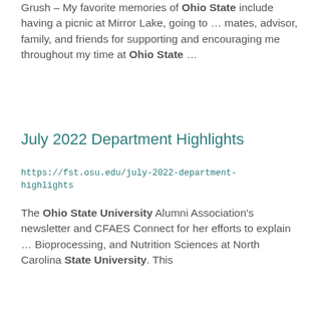Grush – My favorite memories of Ohio State include having a picnic at Mirror Lake, going to ... mates, advisor, family, and friends for supporting and encouraging me throughout my time at Ohio State ...
July 2022 Department Highlights
https://fst.osu.edu/july-2022-department-highlights
The Ohio State University Alumni Association's newsletter and CFAES Connect for her efforts to explain ... Bioprocessing, and Nutrition Sciences at North Carolina State University. This